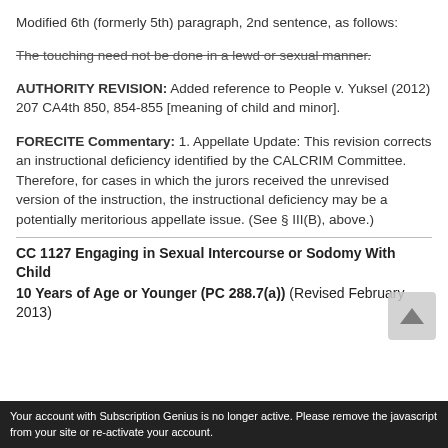Modified 6th (formerly 5th) paragraph, 2nd sentence, as follows:
The touching need not be done in a lewd or sexual manner.
AUTHORITY REVISION: Added reference to People v. Yuksel (2012) 207 CA4th 850, 854-855 [meaning of child and minor].
FORECITE Commentary: 1. Appellate Update: This revision corrects an instructional deficiency identified by the CALCRIM Committee. Therefore, for cases in which the jurors received the unrevised version of the instruction, the instructional deficiency may be a potentially meritorious appellate issue. (See § III(B), above.)
CC 1127 Engaging in Sexual Intercourse or Sodomy With Child 10 Years of Age or Younger (PC 288.7(a)) (Revised February 2013)
Your account with Subscription Genius is no longer active. Please remove the javascript from your site or re-activate your account.